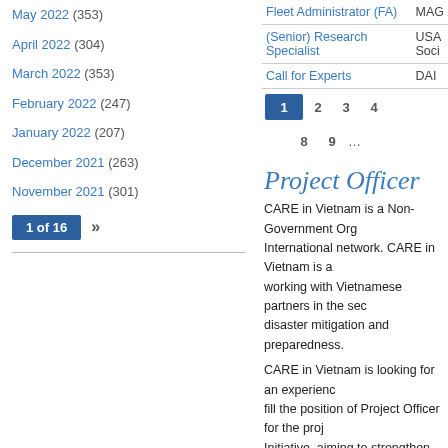May 2022 (353)
April 2022 (304)
March 2022 (353)
February 2022 (247)
January 2022 (207)
December 2021 (263)
November 2021 (301)
1 of 16 »
| Job Title | Organisation |
| --- | --- |
| Fleet Administrator (FA) | MAG |
| (Senior) Research Specialist | USA Social... |
| Call for Experts | DAI |
1 2 3 4
8 9 …
Project Officer
CARE in Vietnam is a Non-Government Org International network. CARE in Vietnam is a working with Vietnamese partners in the sector of disaster mitigation and preparedness.
CARE in Vietnam is looking for an experienced fill the position of Project Officer for the project Initiative, aiming to strengthen community-based and implementation through effective networks
| Organisation Name: | CARE in Vietnam |
| Location: | Ha Noi |
| Application Deadline: |  |